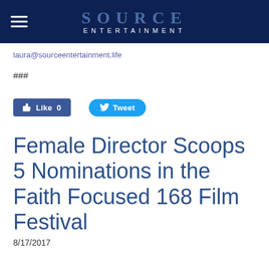SOURCE ENTERTAINMENT
laura@sourceentertainment.life
###
[Figure (screenshot): Social media buttons: Facebook Like (0) button and Twitter Tweet button]
Female Director Scoops 5 Nominations in the Faith Focused 168 Film Festival
8/17/2017